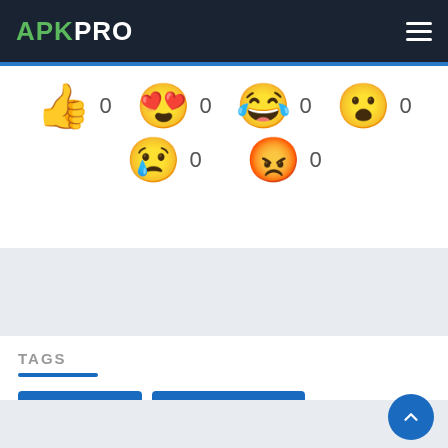APKPRO
[Figure (infographic): Six emoji reaction icons each with a count of 0: thumbs up, heart eyes, laughing crying, surprised/wow, sad crying, angry red face]
[Figure (infographic): Gray advertisement placeholder area]
TAGS
Word Shatter
Word Shatter apk